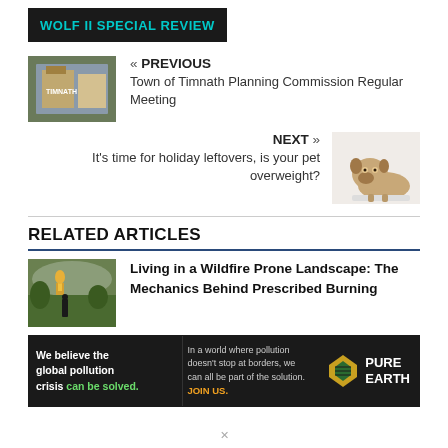WOLF II SPECIAL REVIEW
« PREVIOUS
Town of Timnath Planning Commission Regular Meeting
NEXT »
It's time for holiday leftovers, is your pet overweight?
RELATED ARTICLES
Living in a Wildfire Prone Landscape: The Mechanics Behind Prescribed Burning
[Figure (other): Pure Earth advertisement banner: 'We believe the global pollution crisis can be solved. In a world where pollution doesn't stop at borders, we can all be part of the solution. JOIN US.' with Pure Earth logo.]